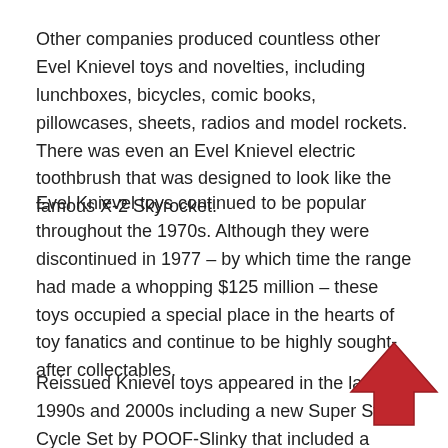Other companies produced countless other Evel Knievel toys and novelties, including lunchboxes, bicycles, comic books, pillowcases, sheets, radios and model rockets. There was even an Evel Knievel electric toothbrush that was designed to look like the famous X-2 Skyrocket.
Evel Knievel toys continued to be popular throughout the 1970s. Although they were discontinued in 1977 – by which time the range had made a whopping $125 million – these toys occupied a special place in the hearts of toy fanatics and continue to be highly sought-after collectables.
Reissued Knievel toys appeared in the late 1990s and 2000s including a new Super Stunt Cycle Set by POOF-Slinky that included a dragster and a car.
[Figure (illustration): A red upward-pointing arrow overlaid on text, partially obscuring the words 'and' and 'POOF-' in the third paragraph.]